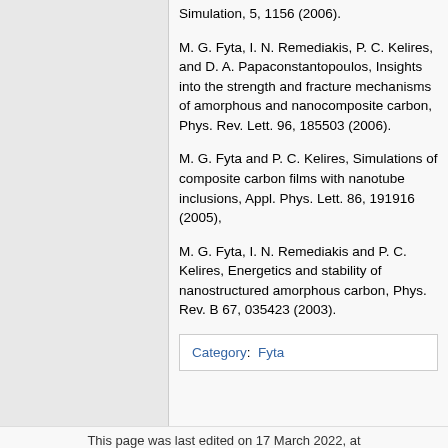Simulation, 5, 1156 (2006).
M. G. Fyta, I. N. Remediakis, P. C. Kelires, and D. A. Papaconstantopoulos, Insights into the strength and fracture mechanisms of amorphous and nanocomposite carbon, Phys. Rev. Lett. 96, 185503 (2006).
M. G. Fyta and P. C. Kelires, Simulations of composite carbon films with nanotube inclusions, Appl. Phys. Lett. 86, 191916 (2005),
M. G. Fyta, I. N. Remediakis and P. C. Kelires, Energetics and stability of nanostructured amorphous carbon, Phys. Rev. B 67, 035423 (2003).
Category:  Fyta
This page was last edited on 17 March 2022, at